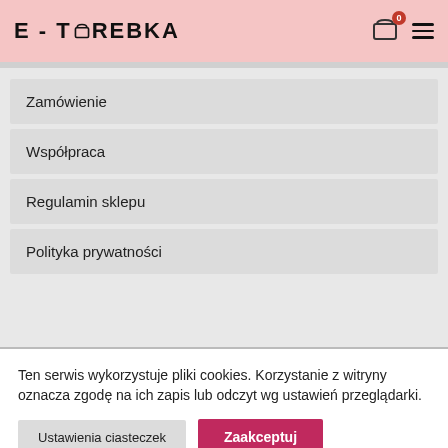E-TOREBKA
Zamówienie
Współpraca
Regulamin sklepu
Polityka prywatności
Ten serwis wykorzystuje pliki cookies. Korzystanie z witryny oznacza zgodę na ich zapis lub odczyt wg ustawień przeglądarki.
Ustawienia ciasteczek | Zaakceptuj